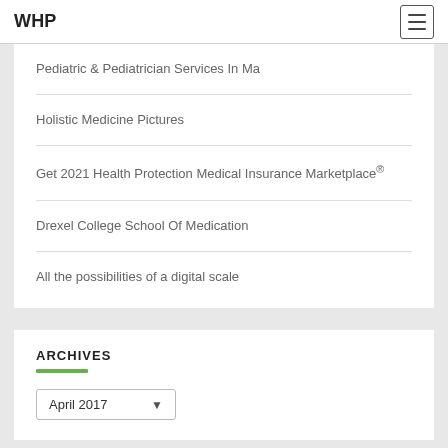WHP
Pediatric & Pediatrician Services In Ma
Holistic Medicine Pictures
Get 2021 Health Protection Medical Insurance Marketplace®
Drexel College School Of Medication
All the possibilities of a digital scale
ARCHIVES
April 2017